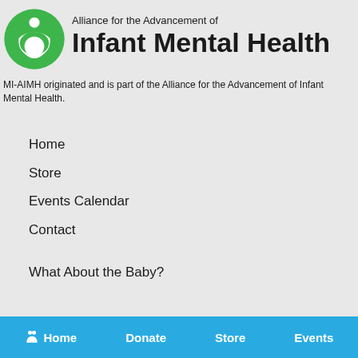[Figure (logo): Green circular logo with a stylized person figure (head and body) above a circular opening, representing the Alliance for the Advancement of Infant Mental Health]
Alliance for the Advancement of Infant Mental Health
MI-AIMH originated and is part of the Alliance for the Advancement of Infant Mental Health.
Home
Store
Events Calendar
Contact
What About the Baby?
Membership Benefits
Home  Donate  Store  Events